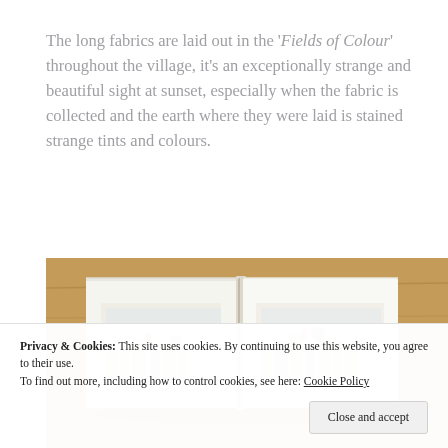The long fabrics are laid out in the 'Fields of Colour' throughout the village, it's an exceptionally strange and beautiful sight at sunset, especially when the fabric is collected and the earth where they were laid is stained strange tints and colours.
[Figure (photo): An open sketchbook/illustrated book lying on a wooden surface, showing watercolour illustrations of a village scene across two pages.]
Privacy & Cookies: This site uses cookies. By continuing to use this website, you agree to their use.
To find out more, including how to control cookies, see here: Cookie Policy